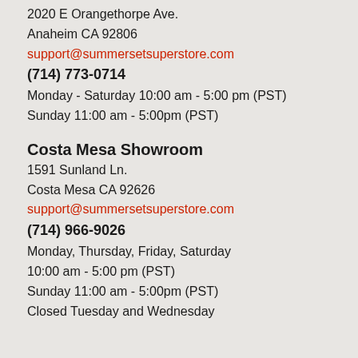2020 E Orangethorpe Ave.
Anaheim CA 92806
support@summersetsuperstore.com
(714) 773-0714
Monday - Saturday 10:00 am - 5:00 pm (PST)
Sunday 11:00 am - 5:00pm (PST)
Costa Mesa Showroom
1591 Sunland Ln.
Costa Mesa CA 92626
support@summersetsuperstore.com
(714) 966-9026
Monday, Thursday, Friday, Saturday
10:00 am - 5:00 pm (PST)
Sunday 11:00 am - 5:00pm (PST)
Closed Tuesday and Wednesday